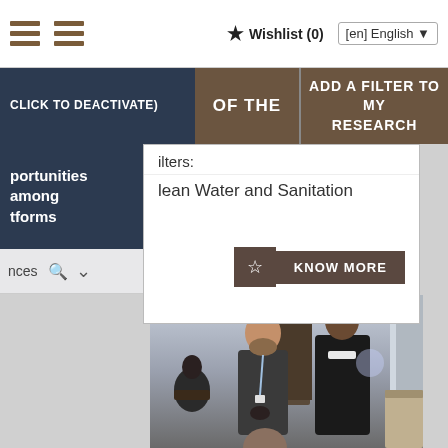Wishlist (0) | [en] English
CLICK TO DEACTIVATE
OF THE
ADD A FILTER TO MY RESEARCH
portunities among tforms
filters:
lean Water and Sanitation
nces
[Figure (photo): Two men standing at a conference or indoor meeting. One man has a beard and wears a blazer with a lanyard; the other wears a dark jacket. A seated person is visible in the background on the left.]
KNOW MORE